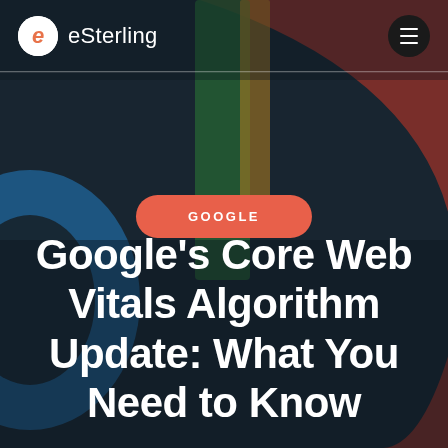[Figure (photo): Background photo of colorful Google logo letters (blue, red, green, yellow) in 3D, viewed up close in an indoor setting]
eSterling
GOOGLE
Google's Core Web Vitals Algorithm Update: What You Need to Know